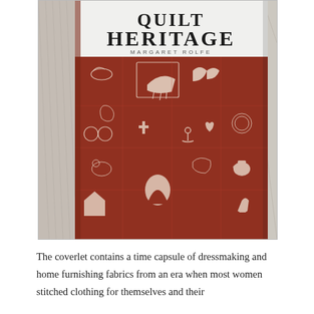[Figure (photo): A photograph of a book titled 'Quilt Heritage' by Margaret Rolfe, showing the book cover with white top section displaying the title and author name, and a red/terracotta fabric with white printed folk-art motifs including animals, household objects, and decorative elements. The book is laid on a herringbone-patterned fabric background.]
The coverlet contains a time capsule of dressmaking and home furnishing fabrics from an era when most women stitched clothing for themselves and their